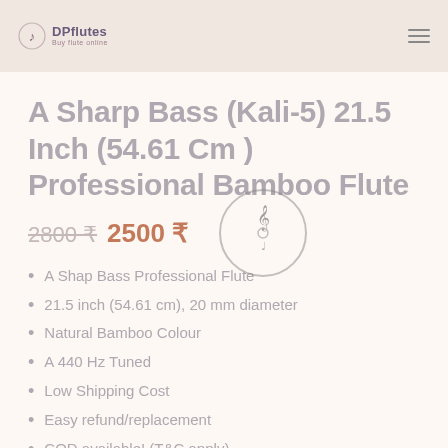DPflutes
A Sharp Bass (Kali-5) 21.5 Inch (54.61 Cm ) Professional Bamboo Flute
2800 ₹  2500 ₹
A Shap Bass Professional Flute
21.5 inch (54.61 cm), 20 mm diameter
Natural Bamboo Colour
A 440 Hz Tuned
Low Shipping Cost
Easy refund/replacement
COD available! (T&C apply)